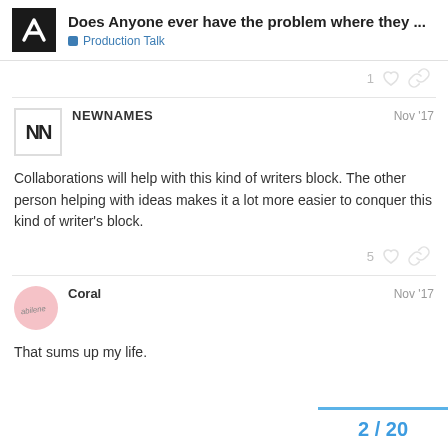Does Anyone ever have the problem where they ... | Production Talk
Collaborations will help with this kind of writers block. The other person helping with ideas makes it a lot more easier to conquer this kind of writer's block.
That sums up my life.
2 / 20